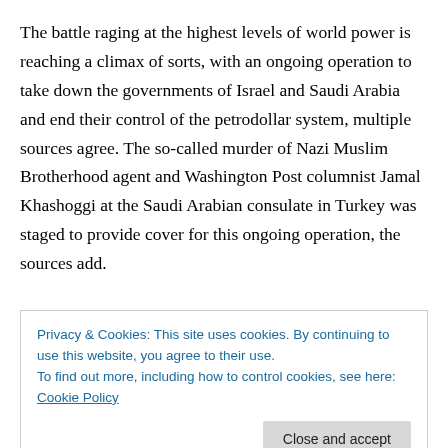The battle raging at the highest levels of world power is reaching a climax of sorts, with an ongoing operation to take down the governments of Israel and Saudi Arabia and end their control of the petrodollar system, multiple sources agree. The so-called murder of Nazi Muslim Brotherhood agent and Washington Post columnist Jamal Khashoggi at the Saudi Arabian consulate in Turkey was staged to provide cover for this ongoing operation, the sources add.
“This is all about the financial survival of certain countries
Privacy & Cookies: This site uses cookies. By continuing to use this website, you agree to their use.
To find out more, including how to control cookies, see here: Cookie Policy
Crown Prince and de facto head of state Mohammad bin